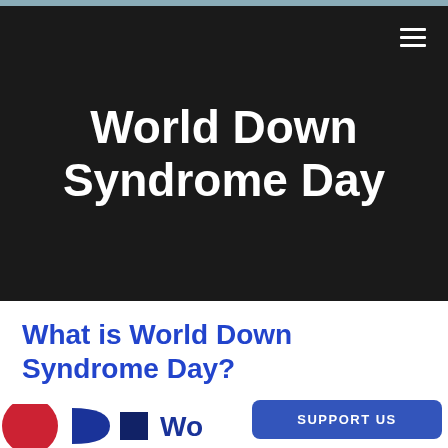World Down Syndrome Day
What is World Down Syndrome Day?
[Figure (logo): Partial view of World Down Syndrome Day logo in red, blue and dark blue colors with text 'Wo...' visible]
SUPPORT US